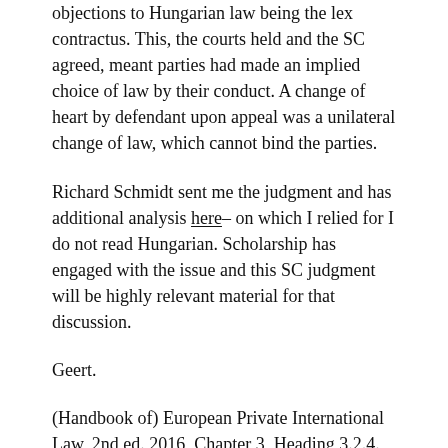objections to Hungarian law being the lex contractus. This, the courts held and the SC agreed, meant parties had made an implied choice of law by their conduct. A change of heart by defendant upon appeal was a unilateral change of law, which cannot bind the parties.
Richard Schmidt sent me the judgment and has additional analysis here– on which I relied for I do not read Hungarian. Scholarship has engaged with the issue and this SC judgment will be highly relevant material for that discussion.
Geert.
(Handbook of) European Private International Law, 2nd ed. 2016, Chapter 3, Heading 3.2.4.